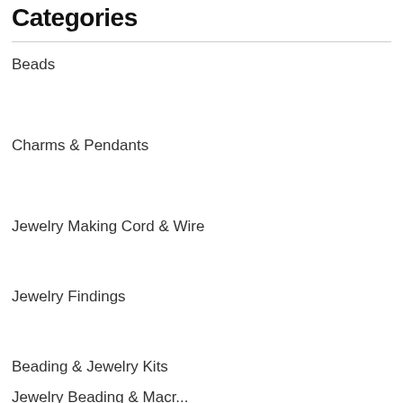Categories
Beads
Charms & Pendants
Jewelry Making Cord & Wire
Jewelry Findings
Beading & Jewelry Kits
Jewelry Beading & Macr...